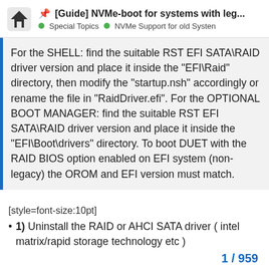[Guide] NVMe-boot for systems with leg... | Special Topics | NVMe Support for old Systen
For the SHELL: find the suitable RST EFI SATA\RAID driver version and place it inside the "EFI\Raid" directory, then modify the "startup.nsh" accordingly or rename the file in "RaidDriver.efi". For the OPTIONAL BOOT MANAGER: find the suitable RST EFI SATA\RAID driver version and place it inside the "EFI\Boot\drivers" directory. To boot DUET with the RAID BIOS option enabled on EFI system (non-legacy) the OROM and EFI version must match.
[style=font-size:10pt]
1) Uninstall the RAID or AHCI SATA driver ( intel matrix/rapid storage technology etc )
1 / 959